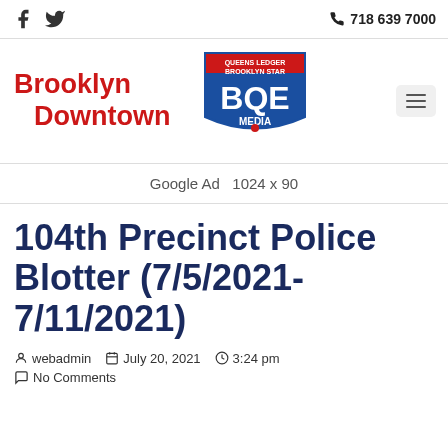718 639 7000
[Figure (logo): Brooklyn Downtown / BQE Media shield logo with Queens Ledger Brooklyn Star text]
Google Ad  1024 x 90
104th Precinct Police Blotter (7/5/2021-7/11/2021)
webadmin  July 20, 2021  3:24 pm  No Comments